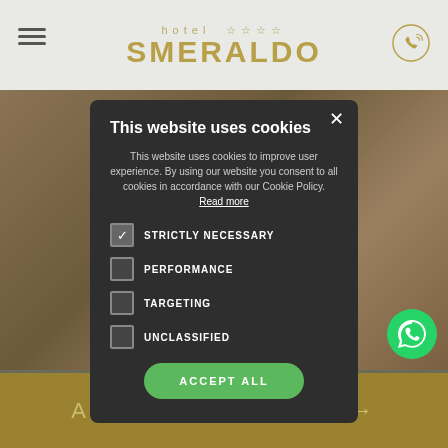[Figure (screenshot): Hotel Smeraldo website header with logo, hamburger menu, phone icon, food background image, WhatsApp icon, and gold 'Ask for a Quote' bar at bottom]
This website uses cookies
This website uses cookies to improve user experience. By using our website you consent to all cookies in accordance with our Cookie Policy. Read more
STRICTLY NECESSARY (checked)
PERFORMANCE (unchecked)
TARGETING (unchecked)
UNCLASSIFIED (unchecked)
ACCEPT ALL